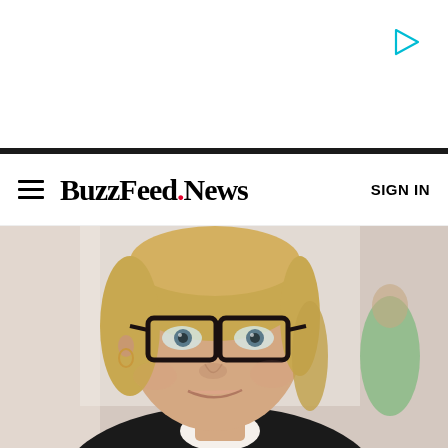[Figure (other): Advertisement area with a cyan play/video button triangle icon in the top-right corner, on a white background]
BuzzFeed.News — SIGN IN
[Figure (photo): Close-up portrait photo of a middle-aged blonde woman wearing dark-rimmed square glasses and a black blazer with white shirt, looking slightly upward, with blurred background showing another person in green shirt]